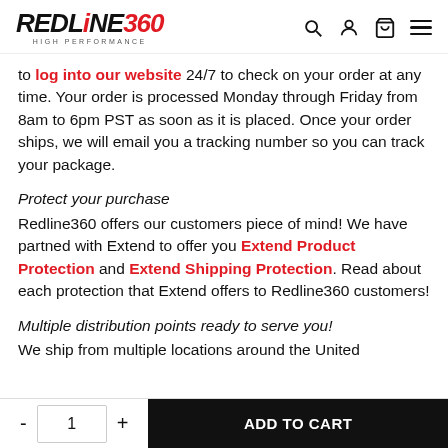REDLINE360 HIGH PERFORMANCE — navigation header with search, account, cart, menu icons
to log into our website 24/7 to check on your order at any time. Your order is processed Monday through Friday from 8am to 6pm PST as soon as it is placed. Once your order ships, we will email you a tracking number so you can track your package.
Protect your purchase
Redline360 offers our customers piece of mind! We have partned with Extend to offer you Extend Product Protection and Extend Shipping Protection. Read about each protection that Extend offers to Redline360 customers!
Multiple distribution points ready to serve you!
We ship from multiple locations around the United
- 1 + ADD TO CART